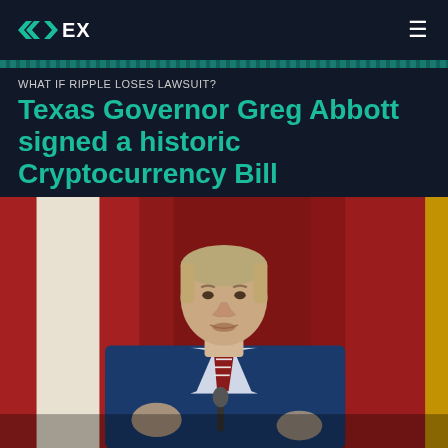FEX (logo)
WHAT IF RIPPLE LOSES LAWSUIT?
Texas Governor Greg Abbott signed a historic Cryptocurrency Bill
[Figure (photo): Photo of Texas Governor Greg Abbott speaking at a podium in a blue suit with red striped tie, with Texas flags and red/yellow banners visible in the background.]